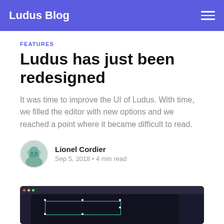Ludus Blog
FEATURES
Ludus has just been redesigned
It was time to improve the UI of Ludus. With time, we filled the editor with new options and we reached a point where it became difficult to read.
Lionel Cordier
Sep 5, 2018 • 4 min read
[Figure (screenshot): Screenshot of the Ludus editor interface showing a dark-themed presentation editor with a browser chrome, toolbar on the left, and a slide canvas with green selection outline.]